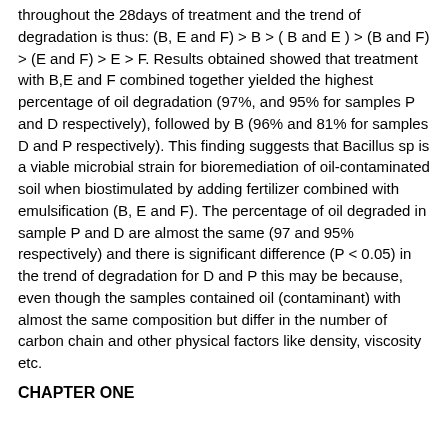throughout the 28days of treatment and the trend of degradation is thus: (B, E and F) > B > ( B and E ) > (B and F) > (E and F) > E > F. Results obtained showed that treatment with B,E and F combined together yielded the highest percentage of oil degradation (97%, and 95% for samples P and D respectively), followed by B (96% and 81% for samples D and P respectively). This finding suggests that Bacillus sp is a viable microbial strain for bioremediation of oil-contaminated soil when biostimulated by adding fertilizer combined with emulsification (B, E and F). The percentage of oil degraded in sample P and D are almost the same (97 and 95% respectively) and there is significant difference (P < 0.05) in the trend of degradation for D and P this may be because, even though the samples contained oil (contaminant) with almost the same composition but differ in the number of carbon chain and other physical factors like density, viscosity etc.
CHAPTER ONE